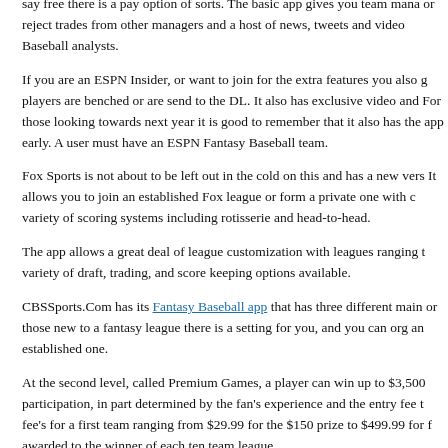say free there is a pay option of sorts. The basic app gives you team mana or reject trades from other managers and a host of news, tweets and video Baseball analysts.
If you are an ESPN Insider, or want to join for the extra features you also g players are benched or are send to the DL. It also has exclusive video and For those looking towards next year it is good to remember that it also has the app early. A user must have an ESPN Fantasy Baseball team.
Fox Sports is not about to be left out in the cold on this and has a new vers It allows you to join an established Fox league or form a private one with c variety of scoring systems including rotisserie and head-to-head.
The app allows a great deal of league customization with leagues ranging t variety of draft, trading, and score keeping options available.
CBSSports.Com has its Fantasy Baseball app that has three different main or those new to a fantasy league there is a setting for you, and you can org an established one.
At the second level, called Premium Games, a player can win up to $3,500 participation, in part determined by the fan's experience and the entry fee t fee's for a first team ranging from $29.99 for the $150 prize to $499.99 for f awarded to the winner of each ten team league.